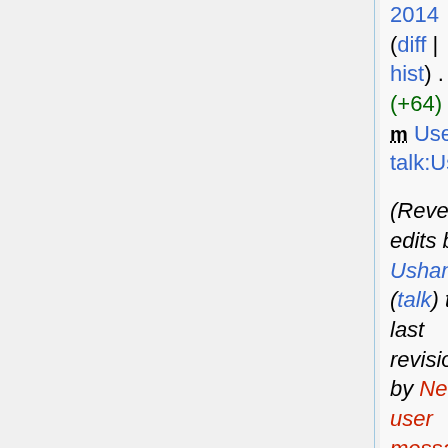2014 (diff | hist) . . (+64) . . m User talk:Ushanthnehra
(Reverted edits by Ushanthnehra (talk) to last revision by New user message) (current)
11:42, 6 March 2014 (diff |